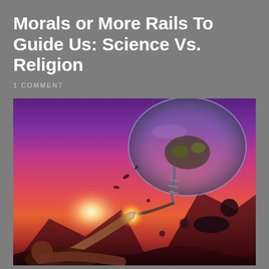Morals or More Rails To Guide Us: Science Vs. Religion
1 COMMENT
[Figure (illustration): A sci-fi/fantasy illustration styled after Michelangelo's Creation of Adam. A human figure reclines on the lower left reaching upward with one finger extended, while a mechanical alien creature descends from upper right inside a glowing bubble or craft, its mechanical finger touching the human's. The background shows a dramatic purple-pink-orange sunset sky with mountains.]